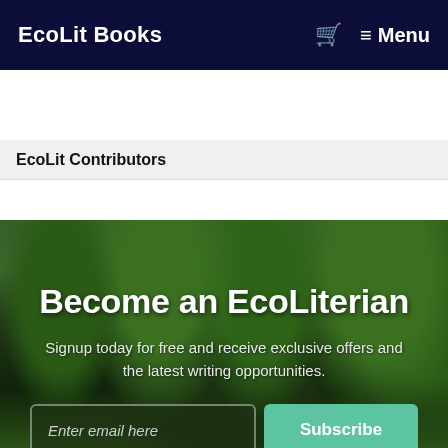EcoLit Books  🛒  ≡ Menu
EcoLit Contributors
[Figure (photo): Forest/trees background image with green leafy trees and grass]
Become an EcoLiterian
Signup today for free and receive exclusive offers and the latest writing opportunities.
Enter email here  [Subscribe button]
And don't worry, we hate spam too! You can unsubscribe at anytime.